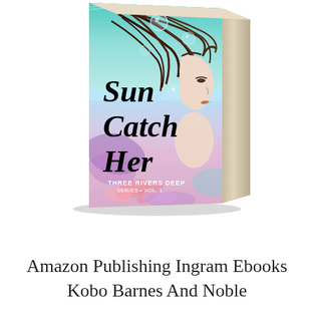[Figure (illustration): 3D book cover mockup of 'Sun Catcher Her' by Three Rivers Deep Series Vol. 1, showing a fantasy/mermaid themed cover with a woman underwater, flowing hair, bubbles, and swirling colors in teal, purple, and pink. The book is shown in a perspective 3D view with the spine visible on the right.]
Amazon Publishing Ingram Ebooks Kobo Barnes And Noble